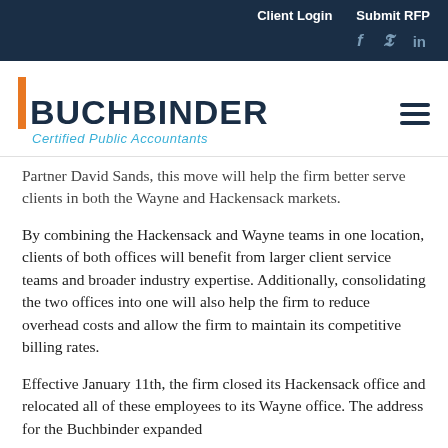Client Login   Submit RFP
[Figure (logo): Buchbinder Certified Public Accountants logo with orange bar and dark navy text]
Partner David Sands, this move will help the firm better serve clients in both the Wayne and Hackensack markets.
By combining the Hackensack and Wayne teams in one location, clients of both offices will benefit from larger client service teams and broader industry expertise. Additionally, consolidating the two offices into one will also help the firm to reduce overhead costs and allow the firm to maintain its competitive billing rates.
Effective January 11th, the firm closed its Hackensack office and relocated all of these employees to its Wayne office. The address for the Buchbinder expanded